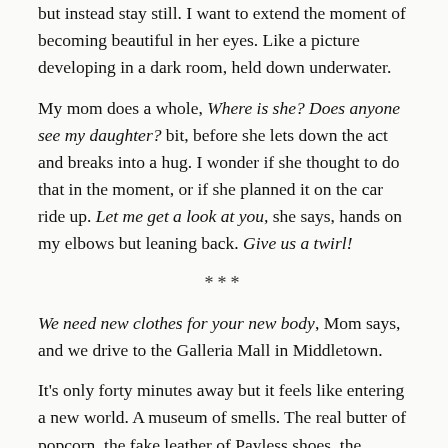but instead stay still. I want to extend the moment of becoming beautiful in her eyes. Like a picture developing in a dark room, held down underwater.
My mom does a whole, Where is she? Does anyone see my daughter? bit, before she lets down the act and breaks into a hug. I wonder if she thought to do that in the moment, or if she planned it on the car ride up. Let me get a look at you, she says, hands on my elbows but leaning back. Give us a twirl!
***
We need new clothes for your new body, Mom says, and we drive to the Galleria Mall in Middletown.
It's only forty minutes away but it feels like entering a new world. A museum of smells. The real butter of popcorn, the fake leather of Payless shoes, the chicken teriyaki samples held out on tiny toothpicks and offered to everyone who passes, the Vanilla Cupcake Yankee Candle that makes the